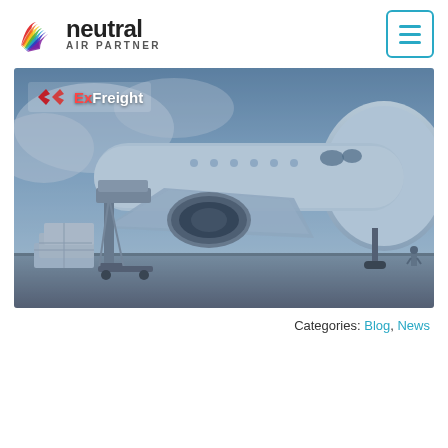[Figure (logo): Neutral Air Partner logo with colorful wing/ribbon icon and text 'neutral AIR PARTNER']
[Figure (photo): Air freight photo showing a large commercial aircraft being loaded with cargo on an airport tarmac, with ExFreight logo overlay in top-left corner and social media icons on the right side]
Categories: Blog, News